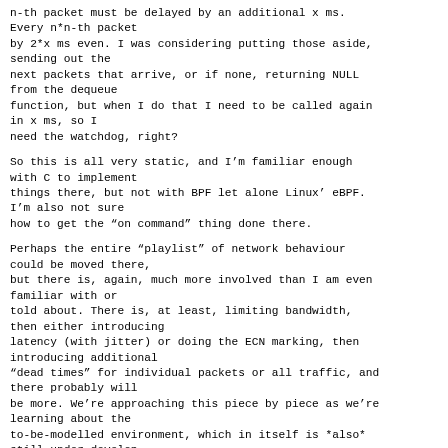n-th packet must be delayed by an additional x ms. Every n*n-th packet by 2*x ms even. I was considering putting those aside, sending out the next packets that arrive, or if none, returning NULL from the dequeue function, but when I do that I need to be called again in x ms, so I need the watchdog, right?
So this is all very static, and I'm familiar enough with C to implement things there, but not with BPF let alone Linux' eBPF. I'm also not sure how to get the "on command" thing done there.
Perhaps the entire "playlist" of network behaviour could be moved there, but there is, again, much more involved than I am even familiar with or told about. There is, at least, limiting bandwidth, then either introducing latency (with jitter) or doing the ECN marking, then introducing additional "dead times" for individual packets or all traffic, and there probably will be more. We're approaching this piece by piece as we're learning about the to-be-modelled environment, which in itself is *also* still under develop-